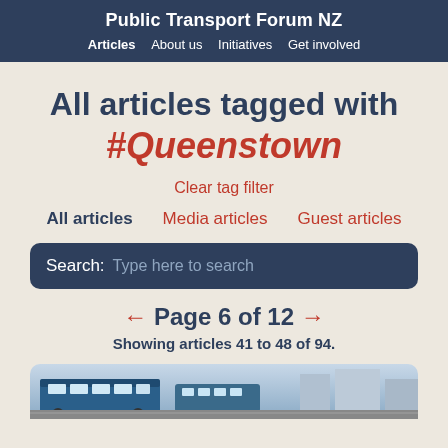Public Transport Forum NZ | Articles  About us  Initiatives  Get involved
All articles tagged with #Queenstown
Clear tag filter
All articles   Media articles   Guest articles
Search: Type here to search
← Page 6 of 12 →
Showing articles 41 to 48 of 94.
[Figure (photo): Photo strip showing public transport vehicles (buses/trains) in an urban setting]